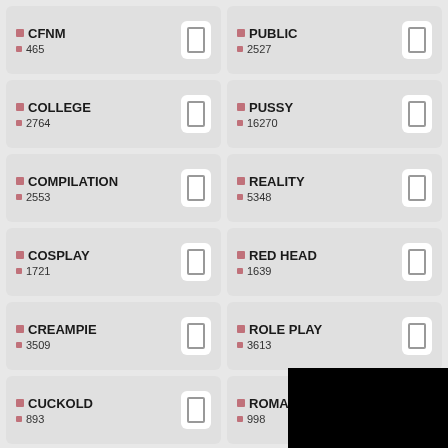CFNM 465
PUBLIC 2527
COLLEGE 2764
PUSSY 16270
COMPILATION 2553
REALITY 5348
COSPLAY 1721
RED HEAD 1639
CREAMPIE 3509
ROLE PLAY 3613
CUCKOLD 893
ROMANTIC 998
CUMSHOT 11112
ROUGH SEX 3552
CZECH
RUSSIAN